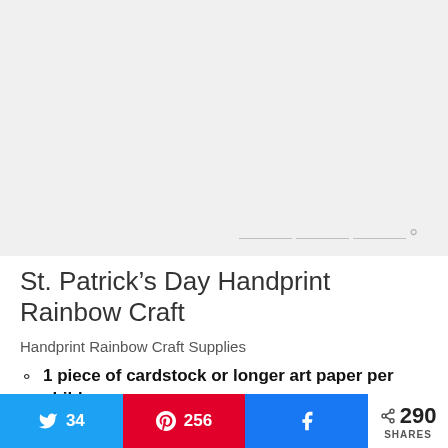[Figure (photo): Image placeholder area for St. Patrick's Day Handprint Rainbow Craft photo (light gray background)]
St. Patrick’s Day Handprint Rainbow Craft
Handprint Rainbow Craft Supplies
1 piece of cardstock or longer art paper per child
tempra paints in rainbow colors and gold
34 (Twitter) | 256 (Pinterest) | Facebook | < 290 SHARES